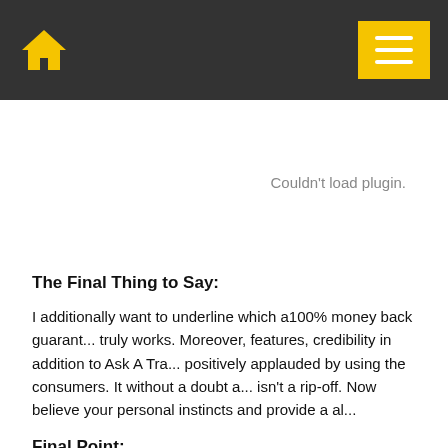Home | Menu
Couldn't load plugin.
The Final Thing to Say:
I additionally want to underline which a100% money back guarantee truly works. Moreover, features, credibility in addition to Ask A Tra... positively applauded by using the consumers. It without a doubt a... isn't a rip-off. Now believe your personal instincts and provide a al...
Final Point:
This is without a doubt our final decision about Ask A Trader. Refu...